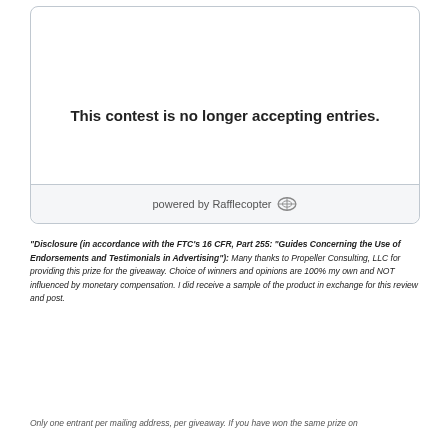This contest is no longer accepting entries.
powered by Rafflecopter
"Disclosure (in accordance with the FTC’s 16 CFR, Part 255: “Guides Concerning the Use of Endorsements and Testimonials in Advertising”): Many thanks to Propeller Consulting, LLC for providing this prize for the giveaway. Choice of winners and opinions are 100% my own and NOT influenced by monetary compensation. I did receive a sample of the product in exchange for this review and post.
Only one entrant per mailing address, per giveaway. If you have won the same prize on